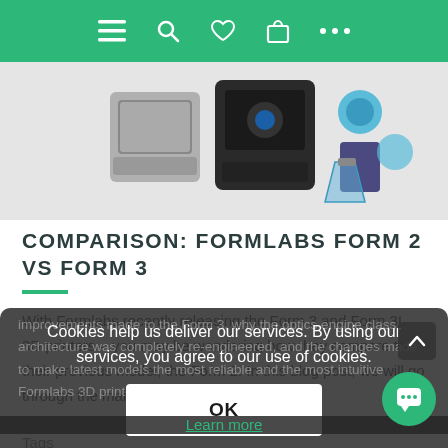[Figure (screenshot): Mobile website navigation bar with green background showing hamburger menu, search, heart/wishlist, bag/cart, and more icons in white]
[Figure (photo): Product photo showing 3D printers (Formlabs Form 2 and Form 3) and accessories on light gray background]
COMPARISON: FORMLABS FORM 2 VS FORM 3
With Formlabs recently releasing the Form 3 and Form 3L 3D printers – you may be wondering how they compare to their previous model, the Form 2. In this blog post, we will go through the main improvements made to the Form 3, why the optics engine class architecture was completely re-engineered, and the changes made to make latest models the most reliable and the most intuitive Formlabs 3D printers to date.
Cookies help us deliver our services. By using our services, you agree to our use of cookies.
OK
Learn more
Tags